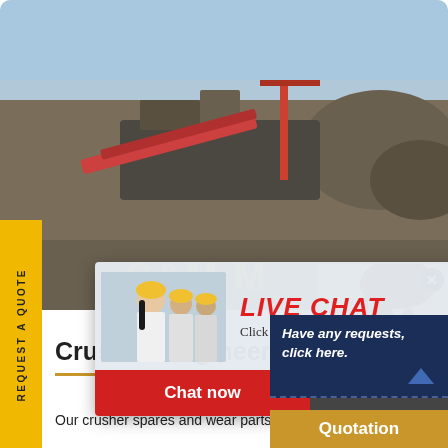[Figure (screenshot): Mining/quarry machinery and equipment background photo with industrial crusher equipment in a quarry setting, blue sky with dirt and rocks]
REQUEST A QUOTE
[Figure (screenshot): Live Chat popup overlay showing workers in yellow hard hats, LIVE CHAT in red italic text, 'Click for a Free Consultation', Chat now (red) and Chat later (dark) buttons]
[Figure (photo): Customer service agent - smiling woman with headset, brown hair]
Crushco Engineering – W
Our crusher spares and wear parts a
Have any requests, click here.
Quotation